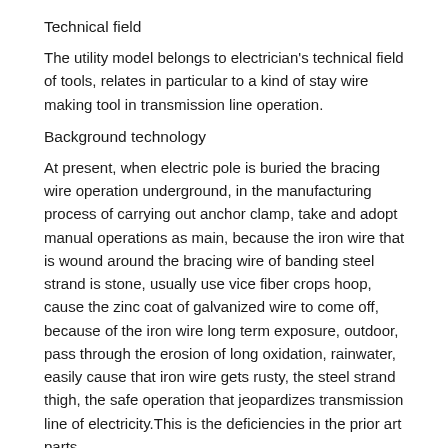Technical field
The utility model belongs to electrician's technical field of tools, relates in particular to a kind of stay wire making tool in transmission line operation.
Background technology
At present, when electric pole is buried the bracing wire operation underground, in the manufacturing process of carrying out anchor clamp, take and adopt manual operations as main, because the iron wire that is wound around the bracing wire of banding steel strand is stone, usually use vice fiber crops hoop, cause the zinc coat of galvanized wire to come off, because of the iron wire long term exposure, outdoor, pass through the erosion of long oxidation, rainwater, easily cause that iron wire gets rusty, the steel strand thigh, the safe operation that jeopardizes transmission line of electricity.This is the deficiencies in the prior art parts.
Summary of the invention
The purpose of this utility model is, overcomes the